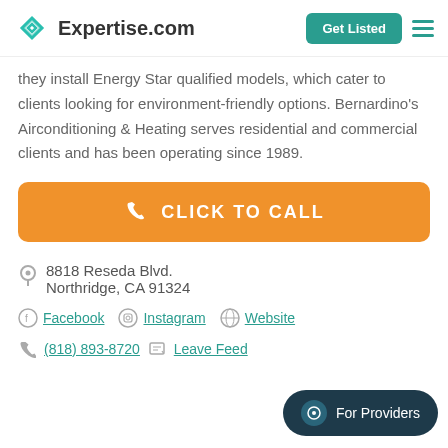Expertise.com | Get Listed
they install Energy Star qualified models, which cater to clients looking for environment-friendly options. Bernardino's Airconditioning & Heating serves residential and commercial clients and has been operating since 1989.
CLICK TO CALL
8818 Reseda Blvd.
Northridge, CA 91324
Facebook  Instagram  Website
(818) 893-8720  Leave Feed...